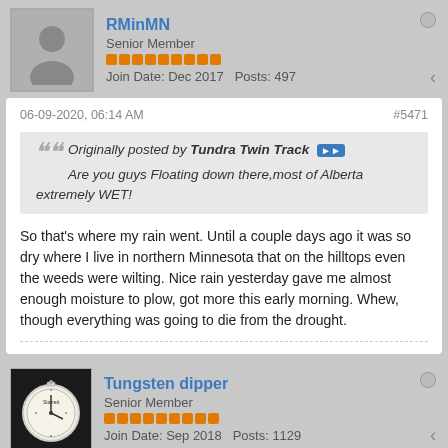RMinMN
Senior Member
Join Date: Dec 2017  Posts: 497
06-09-2020, 06:14 AM
#5471
Originally posted by Tundra Twin Track
Are you guys Floating down there,most of Alberta extremely WET!
So that's where my rain went. Until a couple days ago it was so dry where I live in northern Minnesota that on the hilltops even the weeds were wilting. Nice rain yesterday gave me almost enough moisture to plow, got more this early morning. Whew, though everything was going to die from the drought.
Tungsten dipper
Senior Member
Join Date: Sep 2018  Posts: 1129